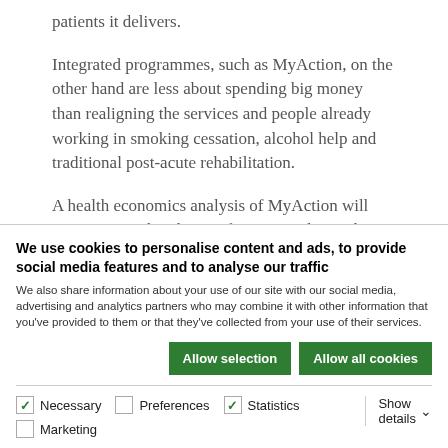patients it delivers.
Integrated programmes, such as MyAction, on the other hand are less about spending big money than realigning the services and people already working in smoking cessation, alcohol help and traditional post-acute rehabilitation.
A health economics analysis of MyAction will report in October, but Professor Wood says the
We use cookies to personalise content and ads, to provide social media features and to analyse our traffic
We also share information about your use of our site with our social media, advertising and analytics partners who may combine it with other information that you've provided to them or that they've collected from your use of their services.